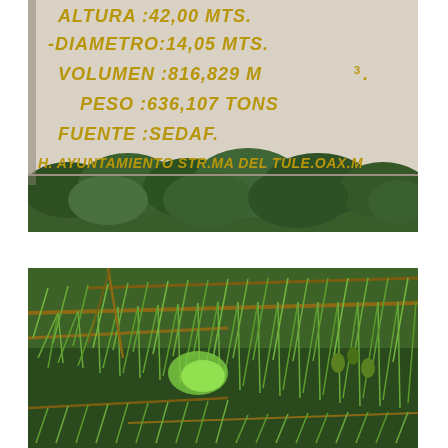[Figure (photo): Close-up photograph of a stone or concrete plaque/sign with engraved Spanish text in golden/yellow lettering reading measurements of a tree: ALTURA :42,00 MTS. -DIAMETRO:14,05 MTS. VOLUMEN :816,829 M3. PESO :636,107 TONS. FUENTE :SEDAF. H. AYUNTAMIENTO STR.MA DEL TULE.OAX.M... Below the plaque are green cypress tree branches.]
[Figure (photo): Close-up photograph of drooping green conifer (Montezuma cypress / ahuehuete) branches with feathery needle-like foliage and small cones visible, against a blurred background.]